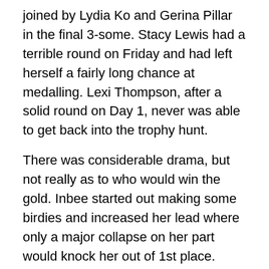joined by Lydia Ko and Gerina Pillar in the final 3-some. Stacy Lewis had a terrible round on Friday and had left herself a fairly long chance at medalling. Lexi Thompson, after a solid round on Day 1, never was able to get back into the trophy hunt.
There was considerable drama, but not really as to who would win the gold. Inbee started out making some birdies and increased her lead where only a major collapse on her part would knock her out of 1st place. While she made a couple of bogeys on the back 9, she also made more birdies and she just wasn't letting go of that Gold Medal.
The great battle was for the other 2 spots, silver and bronze. Remember in The Olympics there are only 3 spots that matter. 4th through 60 all are the same and are meaningless other than having the excellent distinction of